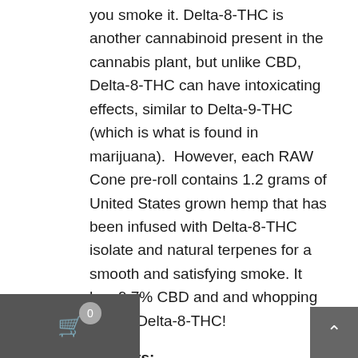you smoke it. Delta-8-THC is another cannabinoid present in the cannabis plant, but unlike CBD, Delta-8-THC can have intoxicating effects, similar to Delta-9-THC (which is what is found in marijuana).  However, each RAW Cone pre-roll contains 1.2 grams of United States grown hemp that has been infused with Delta-8-THC isolate and natural terpenes for a smooth and satisfying smoke. It has 9.7% CBD and and whopping 13.4% Delta-8-THC!
Benefits:
Many clients say that Delta-8-THC provides them a general sensation of well-being because the CB1 and C2B cannabinoid receptors that are being involve associates with homeostasis (the body's natural resting state). More so, other users of Delta-8-THC have described feeling comfortable, invigorated, and clear-headed. Some have even mentioned that Delta-8-THC has eliminated forme